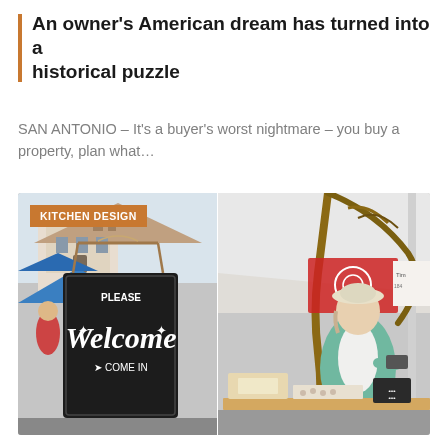An owner's American dream has turned into a historical puzzle
SAN ANTONIO – It's a buyer's worst nightmare – you buy a property, plan what…
[Figure (photo): Outdoor market/fair scene split into two panels. Left panel: a black chalkboard sign hanging from a wooden frame reading 'PLEASE Welcome COME IN' in decorative white lettering with leaf/arrow motifs, with a blue tent and historic building visible in the background crowd scene. Right panel: A woman in a teal cardigan and white hat standing at a market stall with decorative driftwood arch, with various craft items on the table. A red banner and other market stalls visible in the background. An orange 'KITCHEN DESIGN' badge overlays the top-left corner of the photo.]